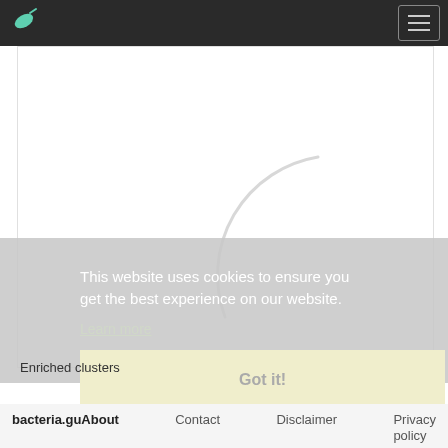bacteria.guru
[Figure (illustration): White content area with a faint light gray partial arc/curve shape centered in the lower portion of the box, suggesting a loading spinner or decorative element]
This website uses cookies to ensure you get the best experience on our website.
Learn more
Enriched clusters
Got it!
bacteria.guru  About  Contact  Disclaimer  Privacy policy